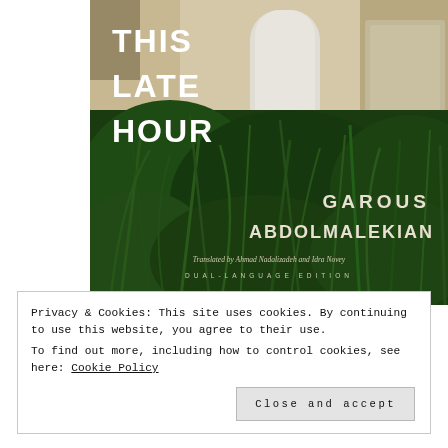[Figure (photo): Book cover of 'This Late Hour' by Garous Abdolmalekian. Shows a photograph of an overgrown doorway or entrance with dark green foliage (tall grass/plants) filling the lower half, and aged pale stone walls with a white door/arch visible in the upper portion. The title 'THIS LATE HOUR' appears in white uppercase letters on the upper left. The author name 'GAROUS ABDOLMALEKIAN' appears in white on the lower right. Below: 'Translated by Ahmad Nadalizadeh and Idra Novey' and 'DUAL-LANGUAGE EDITION'.]
Privacy & Cookies: This site uses cookies. By continuing to use this website, you agree to their use.
To find out more, including how to control cookies, see here: Cookie Policy
Close and accept